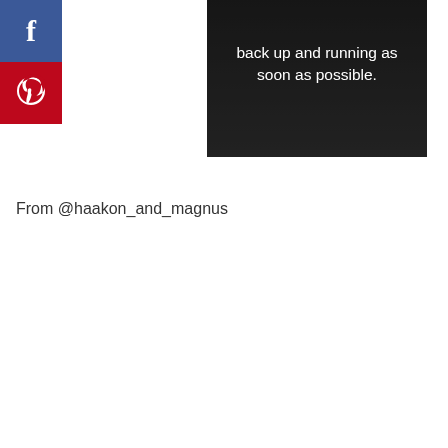[Figure (screenshot): Social media share buttons: Facebook (blue) and Pinterest (red) stacked vertically on the left side]
[Figure (photo): Dark image with white text reading 'back up and running as soon as possible.']
From @haakon_and_magnus